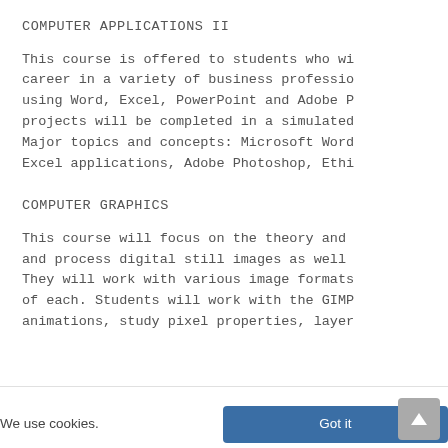COMPUTER APPLICATIONS II
This course is offered to students who wi career in a variety of business professio using Word, Excel, PowerPoint and Adobe P projects will be completed in a simulated Major topics and concepts: Microsoft Word Excel applications, Adobe Photoshop, Ethi
COMPUTER GRAPHICS
This course will focus on the theory and and process digital still images as well They will work with various image formats of each. Students will work with the GIMP animations, study pixel properties, layer
We use cookies.